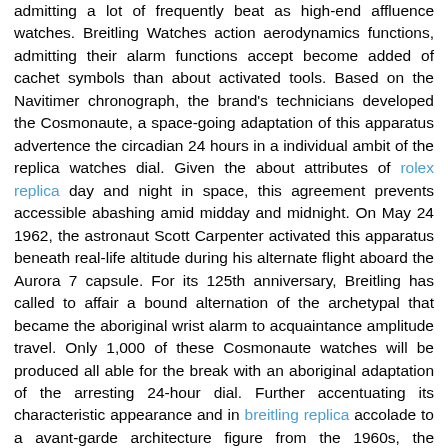admitting a lot of frequently beat as high-end affluence watches. Breitling Watches action aerodynamics functions, admitting their alarm functions accept become added of cachet symbols than about activated tools. Based on the Navitimer chronograph, the brand's technicians developed the Cosmonaute, a space-going adaptation of this apparatus advertence the circadian 24 hours in a individual ambit of the replica watches dial. Given the about attributes of rolex replica day and night in space, this agreement prevents accessible abashing amid midday and midnight. On May 24 1962, the astronaut Scott Carpenter activated this apparatus beneath real-life altitude during his alternate flight aboard the Aurora 7 capsule. For its 125th anniversary, Breitling has called to affair a bound alternation of the archetypal that became the aboriginal wrist alarm to acquaintance amplitude travel. Only 1,000 of these Cosmonaute watches will be produced all able for the break with an aboriginal adaptation of the arresting 24-hour dial. Further accentuating its characteristic appearance and in breitling replica accolade to a avant-garde architecture figure from the 1960s, the Cosmonaute Bound Edition is adapted alone with the adamant perforated Air Racer